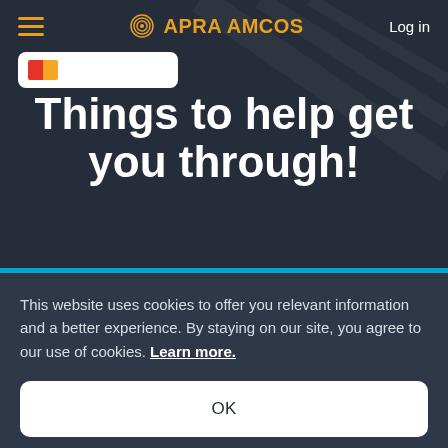APRA AMCOS — Log in
Things to help get you through!
This website uses cookies to offer you relevant information and a better experience. By staying on our site, you agree to our use of cookies. Learn more.
OK